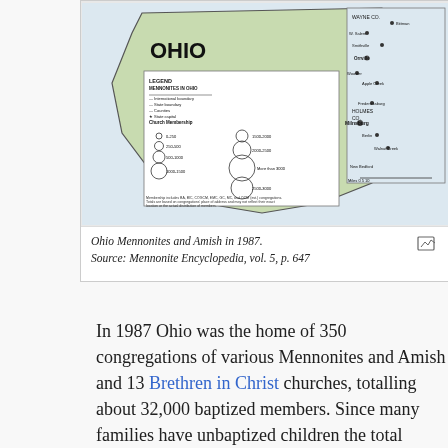[Figure (map): Map of Ohio showing Mennonites and Amish congregations in 1987, with legend indicating church membership sizes by circle size, state boundary, counties, rivers, cities and towns, church camps, and approximate border of O.G. Amish settlement. Inset shows detail of Holmes Co. area.]
Ohio Mennonites and Amish in 1987.
Source: Mennonite Encyclopedia, vol. 5, p. 647
In 1987 Ohio was the home of 350 congregations of various Mennonites and Amish and 13 Brethren in Christ churches, totalling about 32,000 baptized members. Since many families have unbaptized children the total number of people exceeded 50,000. Of the 215 congregations that were some variant of Amish or Beachy Amish, about 83 percent were Old Order Amish. "New Order Amish," a recent development,